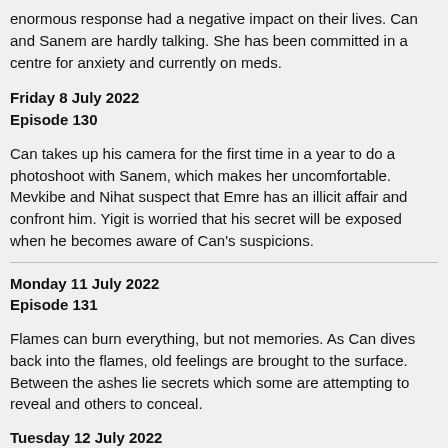enormous response had a negative impact on their lives. Can and Sanem are hardly talking. She has been committed in a centre for anxiety and currently on meds.
Friday 8 July 2022
Episode 130
Can takes up his camera for the first time in a year to do a photoshoot with Sanem, which makes her uncomfortable. Mevkibe and Nihat suspect that Emre has an illicit affair and confront him. Yigit is worried that his secret will be exposed when he becomes aware of Can's suspicions.
Monday 11 July 2022
Episode 131
Flames can burn everything, but not memories. As Can dives back into the flames, old feelings are brought to the surface. Between the ashes lie secrets which some are attempting to reveal and others to conceal.
Tuesday 12 July 2022
Episode 132